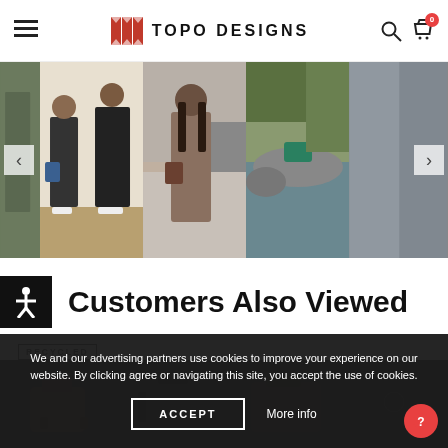Topo Designs — Navigation bar with hamburger menu, logo, search and cart icons
[Figure (photo): Horizontal photo carousel showing lifestyle images of people with Topo Designs products including bags and outdoor gear, with left and right navigation arrows]
Customers Also Viewed
RECYCLED
[Figure (photo): Product preview strip showing dark-colored bags/backpacks on a dark background]
We and our advertising partners use cookies to improve your experience on our website. By clicking agree or navigating this site, you accept the use of cookies.
ACCEPT
More info